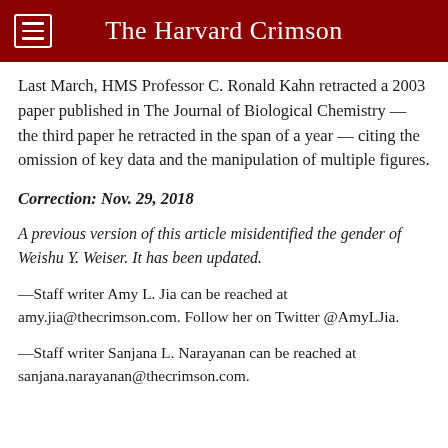The Harvard Crimson
Last March, HMS Professor C. Ronald Kahn retracted a 2003 paper published in The Journal of Biological Chemistry — the third paper he retracted in the span of a year — citing the omission of key data and the manipulation of multiple figures.
Correction: Nov. 29, 2018
A previous version of this article misidentified the gender of Weishu Y. Weiser. It has been updated.
—Staff writer Amy L. Jia can be reached at amy.jia@thecrimson.com. Follow her on Twitter @AmyLJia.
—Staff writer Sanjana L. Narayanan can be reached at sanjana.narayanan@thecrimson.com.